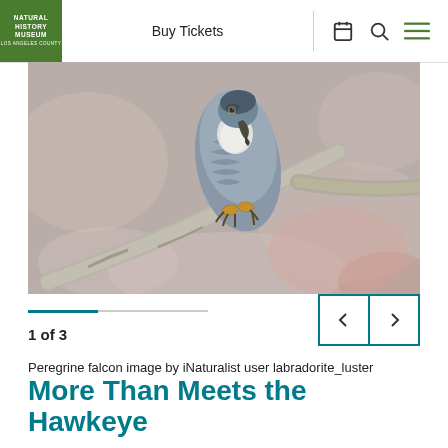NATURAL HISTORY MUSEUM LOS ANGELES COUNTY — Buy Tickets
[Figure (photo): A peregrine falcon perched on a bare branch, viewed from slightly above, showing its grey-blue patterned back and wings, yellow talons gripping the branch.]
1 of 3
Peregrine falcon image by iNaturalist user labradorite_luster
More Than Meets the Hawkeye